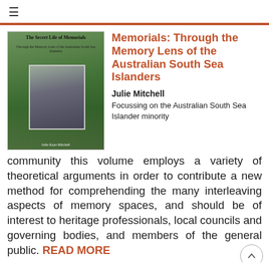≡
[Figure (illustration): Book cover: 'The Secret Life of Memorials — Through the Memory Lens of the Australian South Sea Islanders' by Julie Kaye Mitchell, showing tropical foliage and a person in a greyscale photo]
Memorials: Through the Memory Lens of the Australian South Sea Islanders
Julie Mitchell
Focussing on the Australian South Sea Islander minority community this volume employs a variety of theoretical arguments in order to contribute a new method for comprehending the many interleaving aspects of memory spaces, and should be of interest to heritage professionals, local councils and governing bodies, and members of the general public. READ MORE